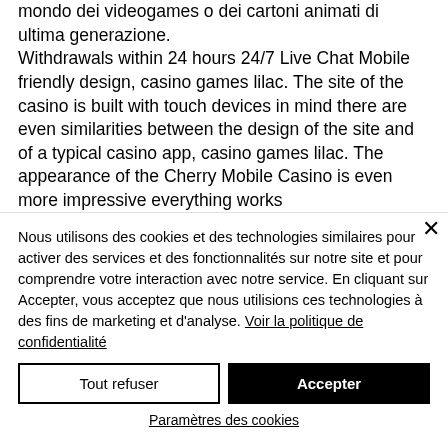mondo dei videogames o dei cartoni animati di ultima generazione. Withdrawals within 24 hours 24/7 Live Chat Mobile friendly design, casino games lilac. The site of the casino is built with touch devices in mind there are even similarities between the design of the site and of a typical casino app, casino games lilac. The appearance of the Cherry Mobile Casino is even more impressive everything works
Nous utilisons des cookies et des technologies similaires pour activer des services et des fonctionnalités sur notre site et pour comprendre votre interaction avec notre service. En cliquant sur Accepter, vous acceptez que nous utilisions ces technologies à des fins de marketing et d'analyse. Voir la politique de confidentialité
Tout refuser
Accepter
Paramètres des cookies